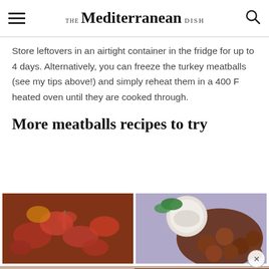THE Mediterranean DISH
Store leftovers in an airtight container in the fridge for up to 4 days. Alternatively, you can freeze the turkey meatballs (see my tips above!) and simply reheat them in a 400 F heated oven until they are cooked through.
More meatballs recipes to try
[Figure (photo): Top-down view of roasted tomatoes and vegetables in a baking dish with a red chili pepper]
[Figure (photo): Fried meatballs on a plate with a white dipping sauce and herbs]
[Figure (photo): Close-up of pale/light colored meatballs (partially visible, bottom left)]
[Figure (photo): Close-up of dark/sauced meatballs (partially visible, bottom right)]